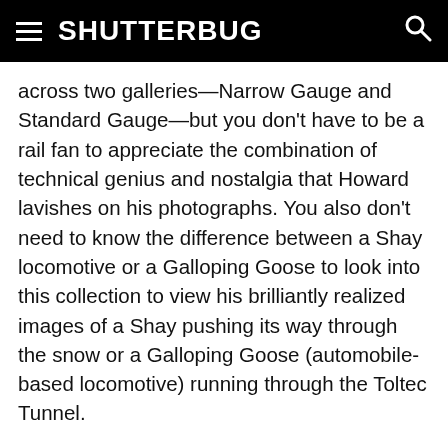SHUTTERBUG
across two galleries—Narrow Gauge and Standard Gauge—but you don't have to be a rail fan to appreciate the combination of technical genius and nostalgia that Howard lavishes on his photographs. You also don't need to know the difference between a Shay locomotive or a Galloping Goose to look into this collection to view his brilliantly realized images of a Shay pushing its way through the snow or a Galloping Goose (automobile-based locomotive) running through the Toltec Tunnel.
Images in the collections are displayed as large thumbnails; clicking them doesn't reveal larger images. If you look in the Black and White collection,